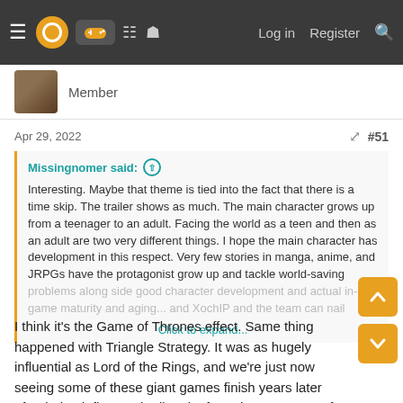Navigation bar with hamburger menu, logo, controller icon, building icon, chat icon, Log in, Register, Search
Member
Apr 29, 2022  #51
Missingnomer said: ⊕
Interesting. Maybe that theme is tied into the fact that there is a time skip. The trailer shows as much. The main character grows up from a teenager to an adult. Facing the world as a teen and then as an adult are two very different things. I hope the main character has development in this respect. Very few stories in manga, anime, and JRPGs have the protagonist grow up and tackle world-saving problems along side good character development and actual in-game maturity and aging... and XochIP and the team can nail... Click to expand...
I think it's the Game of Thrones effect. Same thing happened with Triangle Strategy. It was as hugely influential as Lord of the Rings, and we're just now seeing some of these giant games finish years later after being influenced. All I take from that comment of his is that it'll be a more mature story.